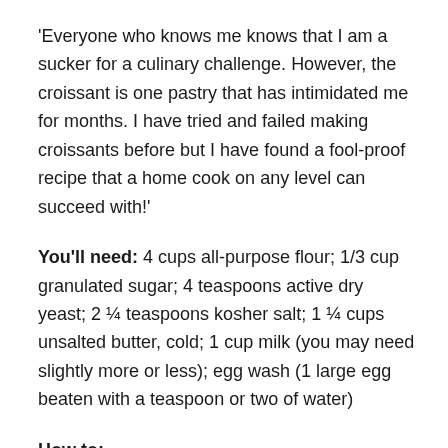'Everyone who knows me knows that I am a sucker for a culinary challenge. However, the croissant is one pastry that has intimidated me for months. I have tried and failed making croissants before but I have found a fool-proof recipe that a home cook on any level can succeed with!'
You'll need: 4 cups all-purpose flour; 1/3 cup granulated sugar; 4 teaspoons active dry yeast; 2 ¼ teaspoons kosher salt; 1 ¼ cups unsalted butter, cold; 1 cup milk (you may need slightly more or less); egg wash (1 large egg beaten with a teaspoon or two of water)
How to:
Place the flour, sugar, yeast, and salt in a large